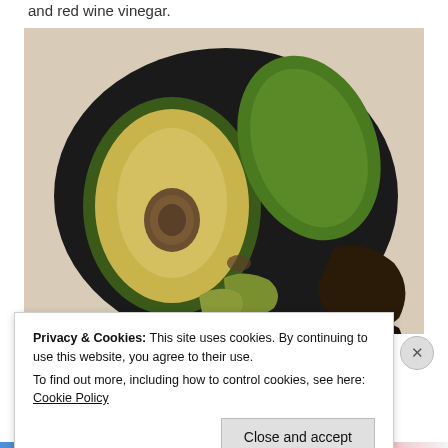and red wine vinegar.
[Figure (photo): A black plate holding a halved avocado (showing the pit and yellow-green flesh), a whole uncut avocado half (green skin), and pieces of dark avocado skin/peel, set on a light surface.]
Privacy & Cookies: This site uses cookies. By continuing to use this website, you agree to their use.
To find out more, including how to control cookies, see here: Cookie Policy
Close and accept